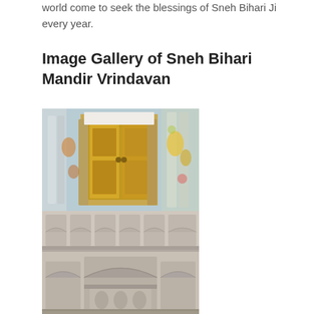world come to seek the blessings of Sneh Bihari Ji every year.
Image Gallery of Sneh Bihari Mandir Vrindavan
[Figure (photo): Photo of the ornate golden door (garbhagriha entrance) of Sneh Bihari Mandir Vrindavan, surrounded by decorated columns and colorful painted walls.]
[Figure (photo): Photo of the exterior facade of Sneh Bihari Mandir Vrindavan showing white carved stone arches, balconies, and decorative carvings.]